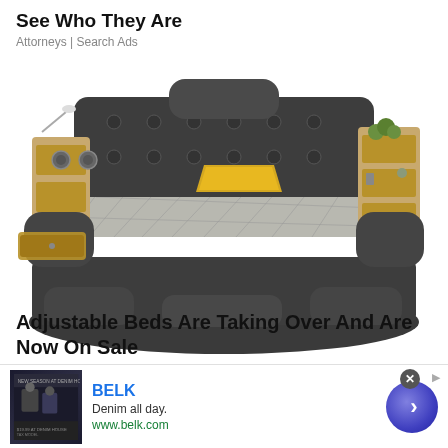See Who They Are
Attorneys | Search Ads
[Figure (photo): A large multi-functional upholstered platform bed with built-in storage shelves, speakers, reading light on the left side, and a yellow decorative pillow on a plaid/checkered bedspread. The bed frame is dark gray with wooden accent shelving units on both sides of the headboard.]
Adjustable Beds Are Taking Over And Are Now On Sale
BELK
Denim all day.
www.belk.com